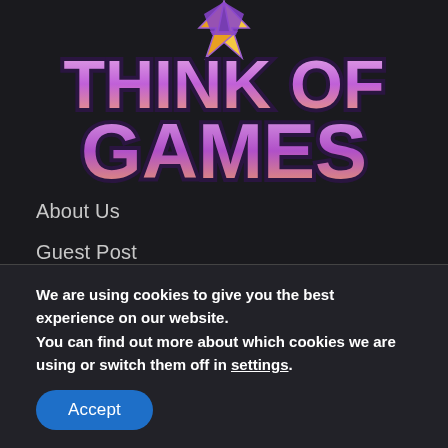[Figure (logo): Think of Games logo with large purple and orange stylized text 'THINK OF GAMES' on a dark background with a lightning bolt/crystal icon above]
About Us
Guest Post
Sitemap
DMCA
Privacy Policy
Terms and Conditions
We are using cookies to give you the best experience on our website.
You can find out more about which cookies we are using or switch them off in settings.
Accept